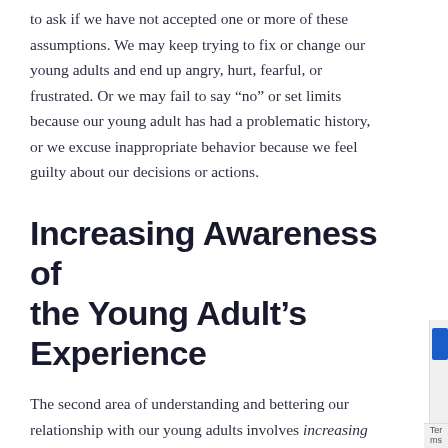to ask if we have not accepted one or more of these assumptions. We may keep trying to fix or change our young adults and end up angry, hurt, fearful, or frustrated. Or we may fail to say “no” or set limits because our young adult has had a problematic history, or we excuse inappropriate behavior because we feel guilty about our decisions or actions.
Increasing Awareness of the Young Adult’s Experience
The second area of understanding and bettering our relationship with our young adults involves increasing our awareness of their world and experience. There is a widespread belief that today’s millennials and